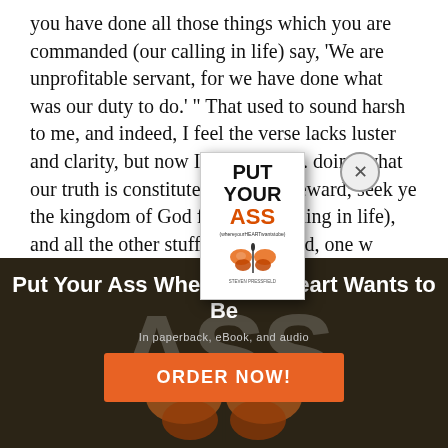you have done all those things which you are commanded (our calling in life) say, 'We are unprofitable servant, for we have done what was our duty to do.' ” That used to sound harsh to me, and indeed, I feel the verse lacks luster and clarity, but now I understand... doing what our truth is constitutes already a reward; seek ye the kingdom of God first, (our calling in life), and all the other stuff will be sorted, one way or the other, but be in the bliss of your truth first.
[Figure (photo): Book cover popup for 'Put Your Ass Where Your Heart Wants to Be' with a close (X) button. The book cover shows the title in bold text with a butterfly graphic.]
[Figure (photo): Dark background promotional section showing large faded text overlay. Contains book title 'Put Your Ass Where Your Heart Wants to Be', subtitle 'In paperback, eBook, and audio', a butterfly graphic, and an orange ORDER NOW! button.]
Put Your Ass Where Your Heart Wants to Be
In paperback, eBook, and audio
ORDER NOW!